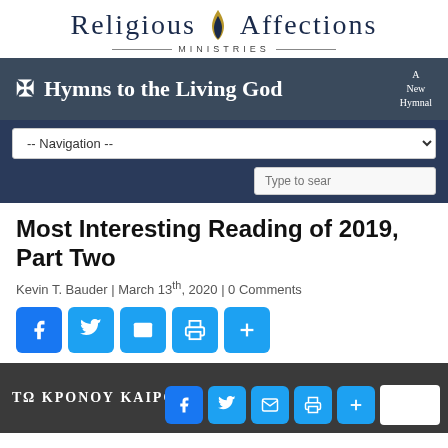[Figure (logo): Religious Affections Ministries logo with flame icon and text]
[Figure (infographic): Hymns to the Living God banner with cross symbol and subtitle A New Hymnal]
[Figure (screenshot): Navigation dropdown menu bar on dark blue background]
Most Interesting Reading of 2019, Part Two
Kevin T. Bauder | March 13th, 2020 | 0 Comments
[Figure (infographic): Social share buttons: Facebook, Twitter, Email, Print, Plus]
[Figure (photo): Thumbnail image with Greek text TΩ KPONOY KAIPO and social share buttons overlay]